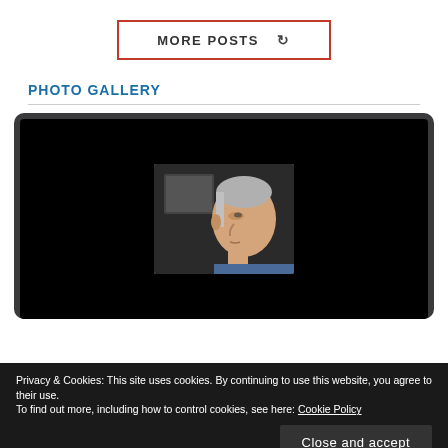MORE POSTS ↻
PHOTO GALLERY
[Figure (screenshot): A laptop screen displaying a photo of a person (Vladimir Putin profile view) against a dark background, embedded in a dark laptop frame.]
Privacy & Cookies: This site uses cookies. By continuing to use this website, you agree to their use.
To find out more, including how to control cookies, see here: Cookie Policy
Close and accept